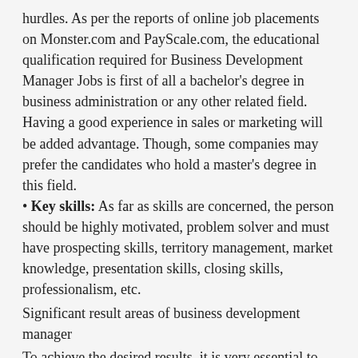hurdles. As per the reports of online job placements on Monster.com and PayScale.com, the educational qualification required for Business Development Manager Jobs is first of all a bachelor's degree in business administration or any other related field. Having a good experience in sales or marketing will be added advantage. Though, some companies may prefer the candidates who hold a master's degree in this field.
• Key skills: As far as skills are concerned, the person should be highly motivated, problem solver and must have prospecting skills, territory management, market knowledge, presentation skills, closing skills, professionalism, etc.
Significant result areas of business development manager
To achieve the desired results, it is very essential to be crystal clear about everything so that the concerned person will be able to focus on the results. Generally, the key result area should be: